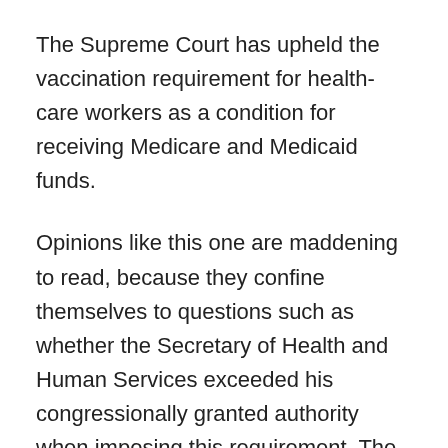The Supreme Court has upheld the vaccination requirement for health-care workers as a condition for receiving Medicare and Medicaid funds.
Opinions like this one are maddening to read, because they confine themselves to questions such as whether the Secretary of Health and Human Services exceeded his congressionally granted authority when imposing this requirement. The Court then proceeds to explain that the Secretary has been understood to enjoy a very broad authority when it comes to imposing requirements regarding the administration of Medicare and Medicaid...